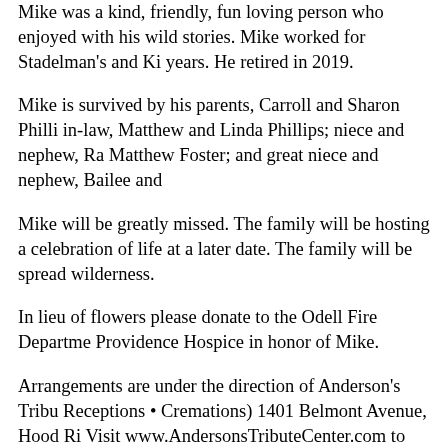Mike was a kind, friendly, fun loving person who enjoyed entertaining people with his wild stories. Mike worked for Stadelman's and Kimberley-Clark for years. He retired in 2019.
Mike is survived by his parents, Carroll and Sharon Phillips; brother and sister-in-law, Matthew and Linda Phillips; niece and nephew, Rachel Foster and Matthew Foster; and great niece and nephew, Bailee and [name].
Mike will be greatly missed. The family will be hosting a celebration of life at a later date. The family will be spreading his ashes in the wilderness.
In lieu of flowers please donate to the Odell Fire Department or Providence Hospice in honor of Mike.
Arrangements are under the direction of Anderson's Tribute Center (Funerals • Receptions • Cremations) 1401 Belmont Avenue, Hood River, OR 97031; Visit www.AndersonsTributeCenter.com to leave a note of condolence for the family.